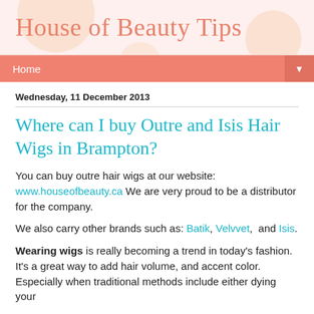House of Beauty Tips
Home ▼
Wednesday, 11 December 2013
Where can I buy Outre and Isis Hair Wigs in Brampton?
You can buy outre hair wigs at our website: www.houseofbeauty.ca We are very proud to be a distributor for the company.
We also carry other brands such as: Batik, Velvvet, and Isis.
Wearing wigs is really becoming a trend in today's fashion. It's a great way to add hair volume, and accent color. Especially when traditional methods include either dying your